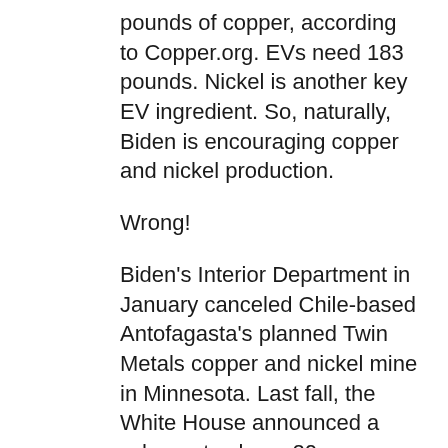pounds of copper, according to Copper.org. EVs need 183 pounds. Nickel is another key EV ingredient. So, naturally, Biden is encouraging copper and nickel production.
Wrong!
Biden's Interior Department in January canceled Chile-based Antofagasta's planned Twin Metals copper and nickel mine in Minnesota. Last fall, the White House announced a scheme to slap a 20-year mining ban on that state's Boundary Waters region, where Antofagasta was to mine.